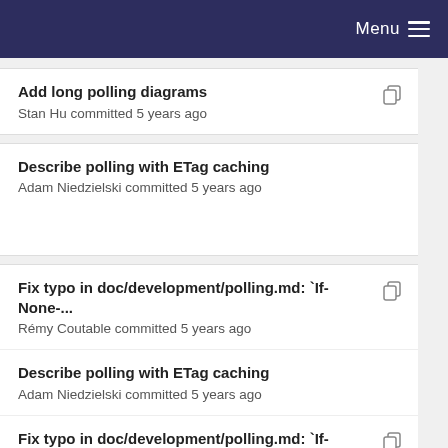Menu
Add long polling diagrams
Stan Hu committed 5 years ago
Describe polling with ETag caching
Adam Niedzielski committed 5 years ago
Fix typo in doc/development/polling.md: `If-None-...
Rémy Coutable committed 5 years ago
Describe polling with ETag caching
Adam Niedzielski committed 5 years ago
Fix typo in doc/development/polling.md: `If-None-...
Rémy Coutable committed 5 years ago
Describe polling with ETag caching
Adam Niedzielski committed 5 years ago